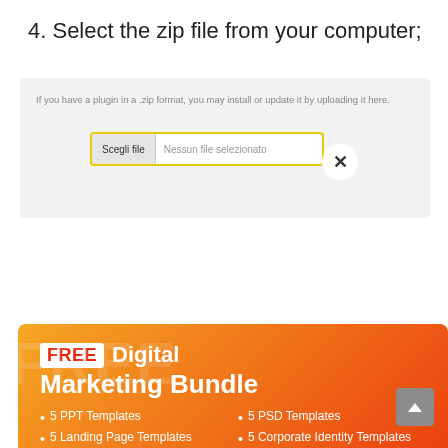4. Select the zip file from your computer;
[Figure (screenshot): WordPress plugin upload interface showing a file chooser area with 'Scegli file' button and 'Nessun file selezionato' text, with yellow border. Gray background panel.]
[Figure (infographic): Orange-red gradient popup overlay advertising a FREE Digital Marketing Bundle including 5 PPT Templates, 5 PSD Templates, 5 Landing Page Templates, 5 Corporate Identity Templates, with email input field and Get Bundle button. Close X button in top right circle.]
d Free Plugins